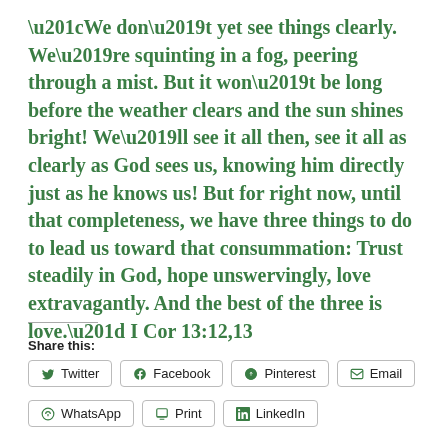“We don’t yet see things clearly. We’re squinting in a fog, peering through a mist. But it won’t be long before the weather clears and the sun shines bright! We’ll see it all then, see it all as clearly as God sees us, knowing him directly just as he knows us! But for right now, until that completeness, we have three things to do to lead us toward that consummation: Trust steadily in God, hope unswervingly, love extravagantly. And the best of the three is love.” I Cor 13:12,13
Share this:
Twitter
Facebook
Pinterest
Email
WhatsApp
Print
LinkedIn